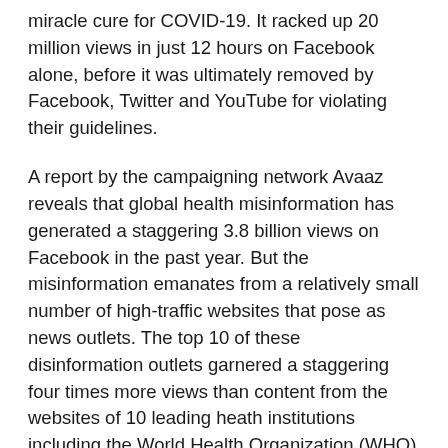miracle cure for COVID-19. It racked up 20 million views in just 12 hours on Facebook alone, before it was ultimately removed by Facebook, Twitter and YouTube for violating their guidelines.
A report by the campaigning network Avaaz reveals that global health misinformation has generated a staggering 3.8 billion views on Facebook in the past year. But the misinformation emanates from a relatively small number of high-traffic websites that pose as news outlets. The top 10 of these disinformation outlets garnered a staggering four times more views than content from the websites of 10 leading heath institutions including the World Health Organization (WHO) and the US Centers for Disease Control and Prevention (CDC). During a severe global pandemic, this rapid dissemination of health misinformation is utterly unacceptable.
Some of the United Nations' core...